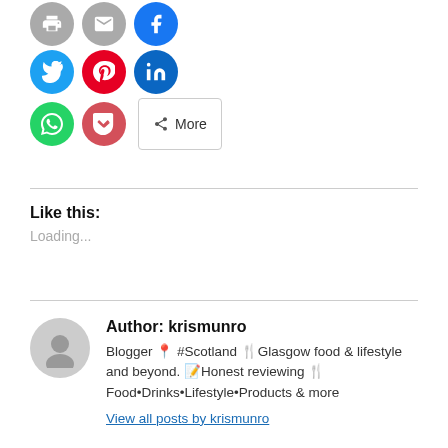[Figure (other): Social sharing buttons: print, email, Facebook, Twitter, Pinterest, LinkedIn, WhatsApp, Pocket, and More]
Like this:
Loading...
Author: krismunro
Blogger 📍 #Scotland 🍴Glasgow food & lifestyle and beyond. 📝Honest reviewing 🍴 Food•Drinks•Lifestyle•Products & more
View all posts by krismunro